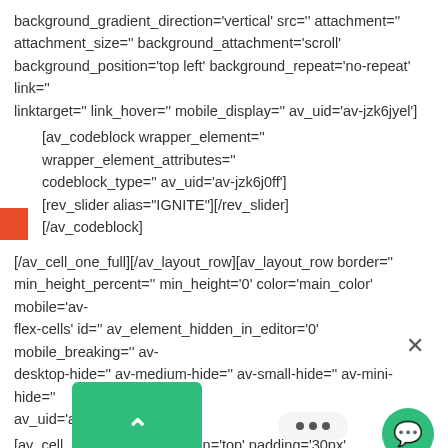background_gradient_direction='vertical' src='' attachment='' attachment_size='' background_attachment='scroll' background_position='top left' background_repeat='no-repeat' link='' linktarget='' link_hover='' mobile_display='' av_uid='av-jzk6jyel']
[av_codeblock wrapper_element='' wrapper_element_attributes='' codeblock_type='' av_uid='av-jzk6j0ff'] [rev_slider alias="IGNITE"][/rev_slider] [/av_codeblock]
[/av_cell_one_full][/av_layout_row][av_layout_row border='' min_height_percent='' min_height='0' color='main_color' mobile='av-flex-cells' id='' av_element_hidden_in_editor='0' mobile_breaking='' av-desktop-hide='' av-medium-hide='' av-small-hide='' av-mini-hide='' av_uid='av-14zftov'] [av_cell_one_full vertical_align='top' padding='30px' pa nc='true' background='bg_color' background 9f9f9' ba _gradient_color1='' background_gradient_c ba _gradient_direction='vertical' src='' attachme attachment_size='' background_attachment='scroll'